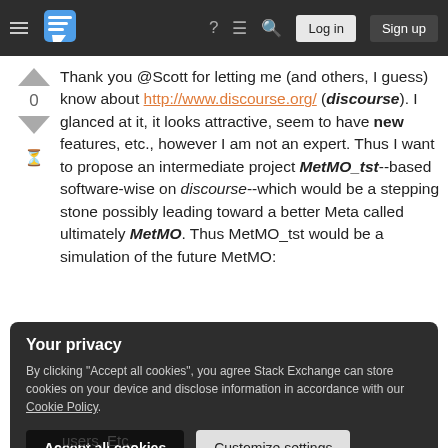Stack Exchange navigation bar with hamburger menu, logo, help, chat, search, Log in, Sign up
Thank you @Scott for letting me (and others, I guess) know about http://www.discourse.org/ (discourse). I glanced at it, it looks attractive, seem to have new features, etc., however I am not an expert. Thus I want to propose an intermediate project MetMO_tst--based software-wise on discourse--which would be a stepping stone possibly leading toward a better Meta called ultimately MetMO. Thus MetMO_tst would be a simulation of the future MetMO:
Your privacy
By clicking "Accept all cookies", you agree Stack Exchange can store cookies on your device and disclose information in accordance with our Cookie Policy.
Accept all cookies   Customize settings
users. Etc.